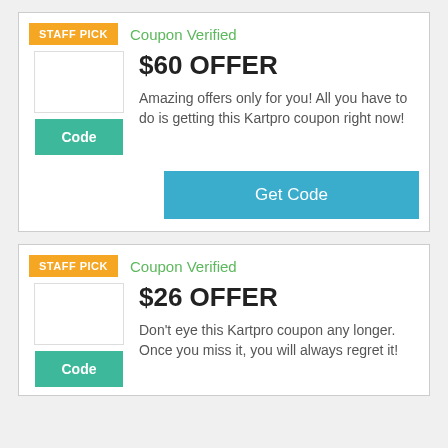[Figure (infographic): Coupon card 1: Staff Pick badge, Coupon Verified label, $60 OFFER title, description text, Code button, Get Code button]
[Figure (infographic): Coupon card 2: Staff Pick badge, Coupon Verified label, $26 OFFER title, description text, Code button]